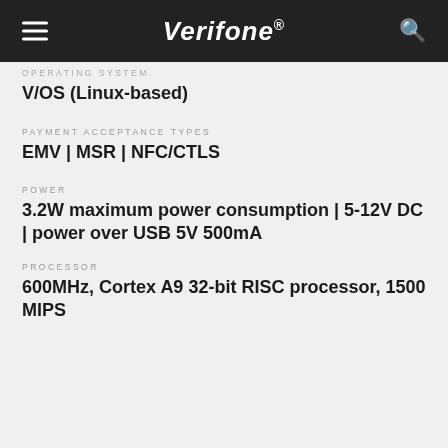Verifone
OPERATING SYSTEM
V/OS (Linux-based)
PAYMENT ACCEPTANCE TYPES
EMV | MSR | NFC/CTLS
POWER
3.2W maximum power consumption | 5-12V DC | power over USB 5V 500mA
PROCESSOR
600MHz, Cortex A9 32-bit RISC processor, 1500 MIPS